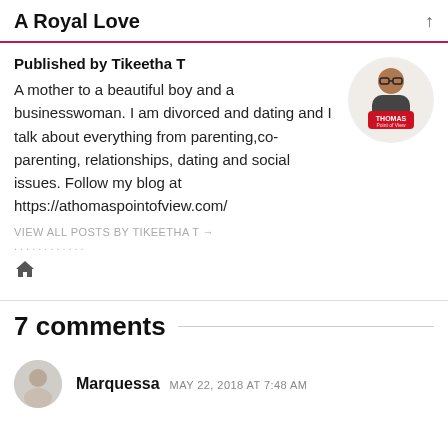A Royal Love
Published by Tikeetha T
A mother to a beautiful boy and a businesswoman. I am divorced and dating and I talk about everything from parenting,co-parenting, relationships, dating and social issues. Follow my blog at https://athomaspointofview.com/
VIEW ALL POSTS BY TIKEETHA T →
7 comments
Marquessa MAY 22, 2018 AT 7:48 AM